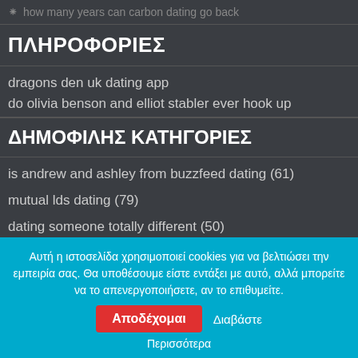how many years can carbon dating go back
ΠΛΗΡΟΦΟΡΙΕΣ
dragons den uk dating app
do olivia benson and elliot stabler ever hook up
ΔΗΜΟΦΙΛΗΣ ΚΑΤΗΓΟΡΙΕΣ
is andrew and ashley from buzzfeed dating (61)
mutual lds dating (79)
dating someone totally different (50)
dating urgency (265)
dating enneagram 9 (176)
Αυτή η ιστοσελίδα χρησιμοποιεί cookies για να βελτιώσει την εμπειρία σας. Θα υποθέσουμε είστε εντάξει με αυτό, αλλά μπορείτε να το απενεργοποιήσετε, αν το επιθυμείτε.
Αποδέχομαι
Διαβάστε Περισσότερα